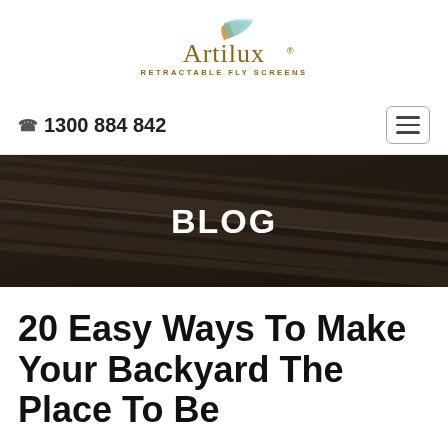[Figure (logo): Artilux Retractable Fly Screens logo with feather/leaf motif in orange and teal above the brand name]
☎ 1300 884 842
[Figure (other): Hamburger menu icon button]
[Figure (photo): Dark brown metallic diagonal stripes banner image with BLOG text overlay]
20 Easy Ways To Make Your Backyard The Place To Be